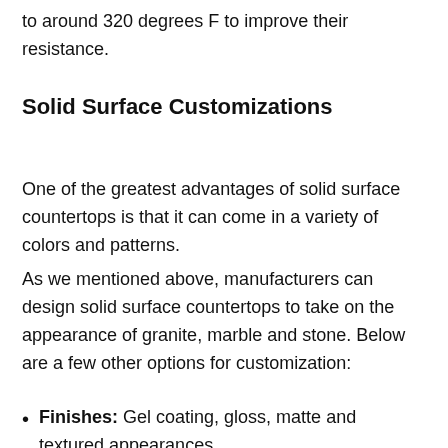to around 320 degrees F to improve their resistance.
Solid Surface Customizations
One of the greatest advantages of solid surface countertops is that it can come in a variety of colors and patterns.
As we mentioned above, manufacturers can design solid surface countertops to take on the appearance of granite, marble and stone. Below are a few other options for customization:
Finishes: Gel coating, gloss, matte and textured appearances.